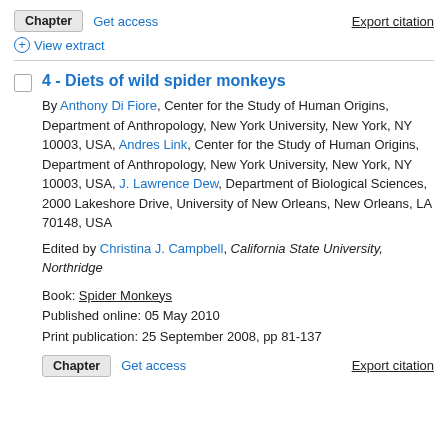Chapter  Get access  Export citation
⊕ View extract
4 - Diets of wild spider monkeys
By Anthony Di Fiore, Center for the Study of Human Origins, Department of Anthropology, New York University, New York, NY 10003, USA, Andres Link, Center for the Study of Human Origins, Department of Anthropology, New York University, New York, NY 10003, USA, J. Lawrence Dew, Department of Biological Sciences, 2000 Lakeshore Drive, University of New Orleans, New Orleans, LA 70148, USA
Edited by Christina J. Campbell, California State University, Northridge
Book: Spider Monkeys
Published online: 05 May 2010
Print publication: 25 September 2008, pp 81-137
Chapter  Get access  Export citation